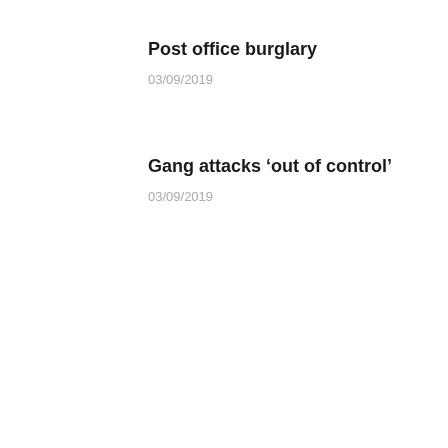Post office burglary
03/09/2019
Gang attacks 'out of control'
03/09/2019